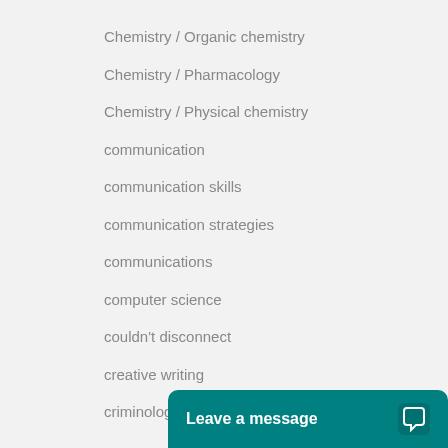Chemistry / Organic chemistry
Chemistry / Pharmacology
Chemistry / Physical chemistry
communication
communication skills
communication strategies
communications
computer science
couldn't disconnect
creative writing
criminology
Leave a message